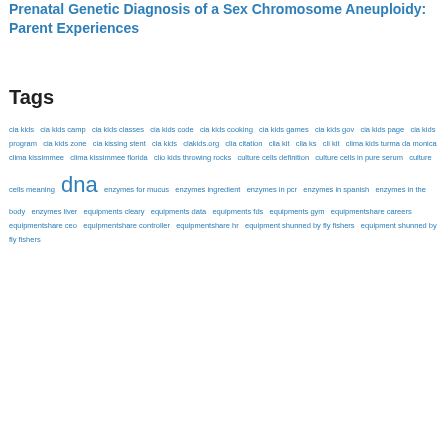Prenatal Genetic Diagnosis of a Sex Chromosome Aneuploidy: Parent Experiences
Tags
cia kids  cia kids camp  cia kids classes  cia kids code  cia kids cooking  cia kids games  cia kids gov  cia kids page  cia kids program  cia kids zone  cia kissing stent  cla kids  clakids.org  clia citation  clia kit  clia ks  cli kit  clima kids turma da monica  clima kissimmee  clima kissimmee florida  clio kids throwing rocks  culture cells definition  culture cells in pure serum  culture cells meaning  dna  enzymes for mucus  enzymes ingredient  enzymes in pcr  enzymes in spanish  enzymes in the body  enzymes liver  equipments cleary  equipments data  equipments fds  equipments gym  equipmentshare careers  equipmentshare ceo  equipmentshare controller  equipmentshare hr  equipment shunned by fly fishers  equipment shunned by fly fishers